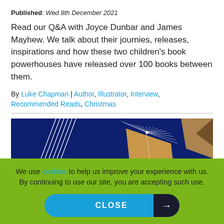Published: Wed 8th December 2021
Read our Q&A with Joyce Dunbar and James Mayhew. We talk about their journies, releases, inspirations and how these two children's book powerhouses have released over 100 books between them.
By Luke Chapman | Author, Illustrator, Interview, Recommended Reads, Christmas
[Figure (logo): YoungWriters Est. 1991 banner logo on dark navy blue background with geometric book shapes and diagonal line decorations]
We use cookies to help us improve your experience with us. By continuing to use our site, you are accepting such use.
CLOSE →